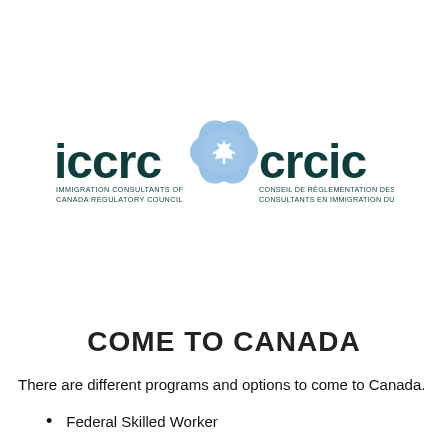[Figure (logo): ICCRC / CRCIC logo — Immigration Consultants of Canada Regulatory Council / Conseil de Réglementation des Consultants en Immigration du Canada, with blue maple leaf emblem in the center]
COME TO CANADA
There are different programs and options to come to Canada.
Federal Skilled Worker